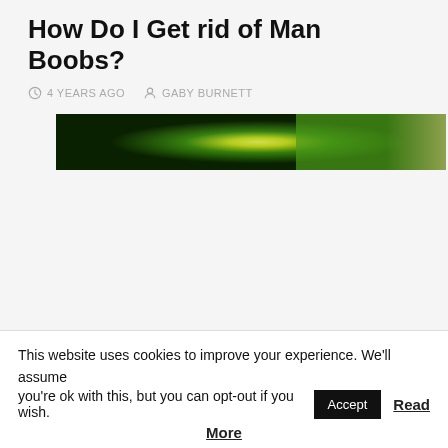How Do I Get rid of Man Boobs?
4 YEARS AGO   GABY BURNETT
[Figure (photo): A dark green background with a bright yellow-green glowing orb/light, banner-style hero image]
This website uses cookies to improve your experience. We'll assume you're ok with this, but you can opt-out if you wish. Accept Read More